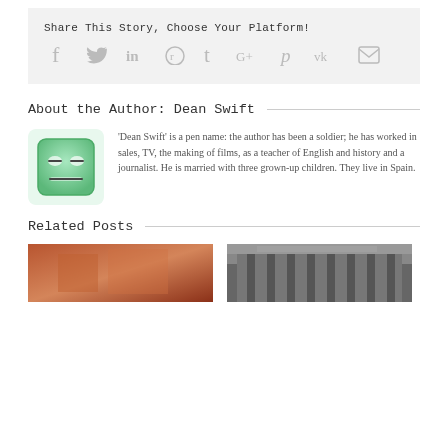Share This Story, Choose Your Platform!
[Figure (infographic): Social media sharing icons: facebook, twitter, linkedin, reddit, tumblr, google+, pinterest, vk, email]
About the Author: Dean Swift
[Figure (illustration): Avatar image: green square face with simple drawn eyes and mouth]
'Dean Swift' is a pen name: the author has been a soldier; he has worked in sales, TV, the making of films, as a teacher of English and history and a journalist. He is married with three grown-up children. They live in Spain.
Related Posts
[Figure (photo): Thumbnail image on left side - partial view, warm toned photo]
[Figure (photo): Thumbnail image on right side - black and white building facade]